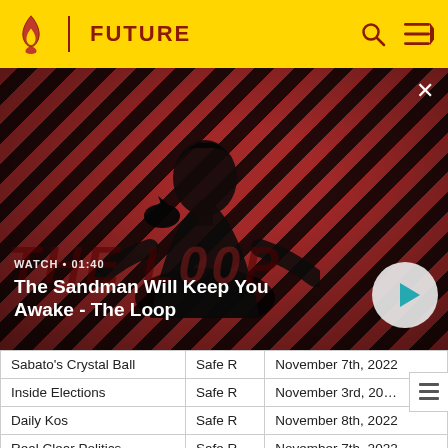FUTURE
[Figure (screenshot): Video thumbnail showing a person in dark clothes with a crow on their shoulder against a red diagonal striped background. Title overlay: 'The Sandman Will Keep You Awake - The Loop'. Watch label: 'WATCH · 01:40'. Play button visible at bottom right of video.]
| Source | Rating | Date |
| --- | --- | --- |
| Sabato's Crystal Ball | Safe R | November 7th, 2022 |
| Inside Elections | Safe R | November 3rd, 20… |
| Daily Kos | Safe R | November 8th, 2022 |
| Real Clear Politics | Safe R | November 7th, 2022 |